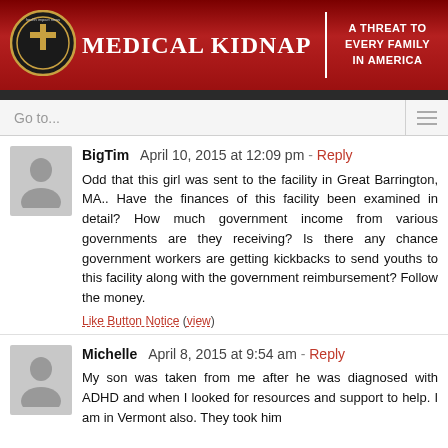MEDICAL KIDNAP | A THREAT TO EVERY FAMILY IN AMERICA
Go to...
BigTim  April 10, 2015 at 12:09 pm  - Reply

Odd that this girl was sent to the facility in Great Barrington, MA.. Have the finances of this facility been examined in detail? How much government income from various governments are they receiving? Is there any chance government workers are getting kickbacks to send youths to this facility along with the government reimbursement? Follow the money.

Like Button Notice (view)
Michelle  April 8, 2015 at 9:54 am  - Reply

My son was taken from me after he was diagnosed with ADHD and when I looked for resources and support to help. I am in Vermont also. They took him